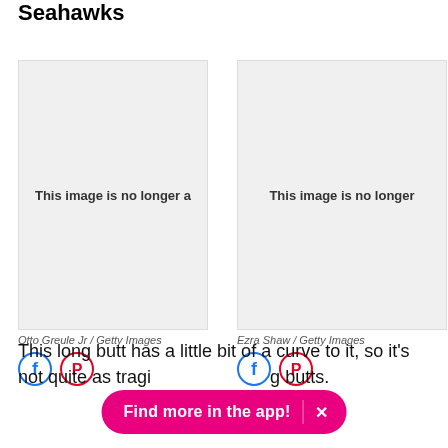Seahawks
[Figure (photo): This image is no longer available]
Otto Greule Jr / Getty Images
[Figure (photo): This image is no longer available]
Ezra Shaw / Getty Images
This long butt has a little bit of a curve to it, so it's not quite as tragic as the truly long butts.